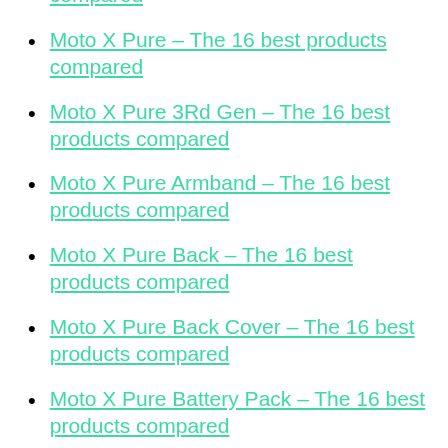compared
Moto X Pure – The 16 best products compared
Moto X Pure 3Rd Gen – The 16 best products compared
Moto X Pure Armband – The 16 best products compared
Moto X Pure Back – The 16 best products compared
Moto X Pure Back Cover – The 16 best products compared
Moto X Pure Battery Pack – The 16 best products compared